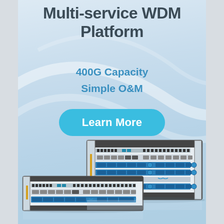Multi-service WDM Platform
400G Capacity
Simple O&M
Learn More
[Figure (photo): Two rack-mounted multi-service WDM network platform units (one 4U chassis and one 2U chassis) with fiber optic ports, SFP modules, and blue fiber management trays, shown on a light blue reflective surface.]